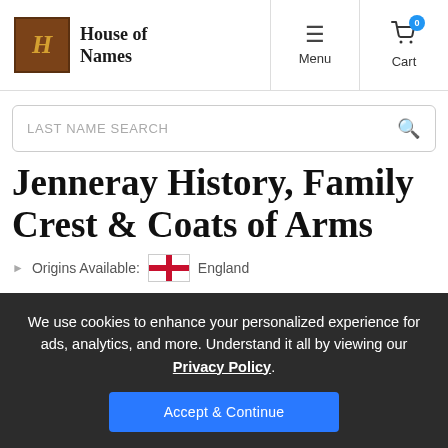House of Names | Menu | Cart
LAST NAME SEARCH
Jenneray History, Family Crest & Coats of Arms
Origins Available: England
We use cookies to enhance your personalized experience for ads, analytics, and more. Understand it all by viewing our Privacy Policy.
Accept & Continue